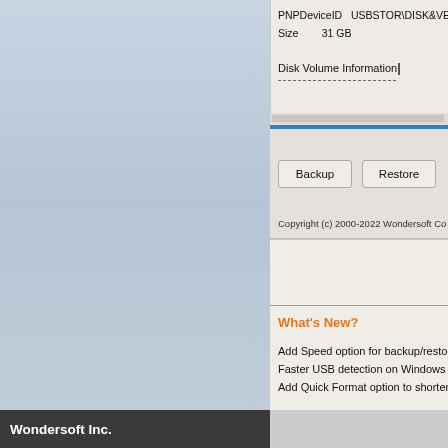PNPDeviceID    USBSTOR\DISK&VEN_LEXAR&PR
Size           31 GB
Disk Volume Information
[Figure (screenshot): Software UI panel showing Backup and Restore buttons with a progress bar area]
Copyright (c) 2000-2022 Wondersoft Co
What's New?
Add Speed option for backup/restore process
Faster USB detection on Windows 11
Add Quick Format option to shorten disk/drive forma
(C) 2000-2022 Wonder
Wondersoft Inc.